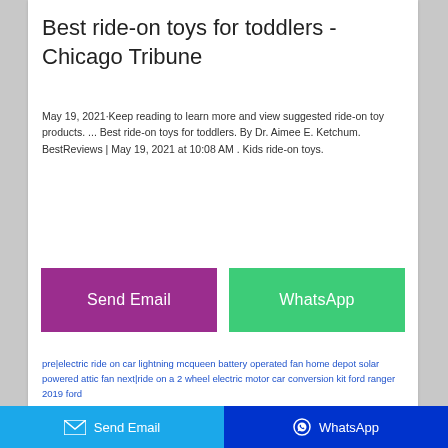Best ride-on toys for toddlers - Chicago Tribune
May 19, 2021·Keep reading to learn more and view suggested ride-on toy products. ... Best ride-on toys for toddlers. By Dr. Aimee E. Ketchum. BestReviews | May 19, 2021 at 10:08 AM . Kids ride-on toys.
[Figure (other): Send Email and WhatsApp share buttons (purple and green)]
pre|electric ride on car lightning mcqueen battery operated fan home depot solar powered attic fan next|ride on a 2 wheel electric motor car conversion kit ford ranger 2019 ford
Related Posts
[Figure (other): Bottom bar with Send Email (blue) and WhatsApp (dark blue) buttons]